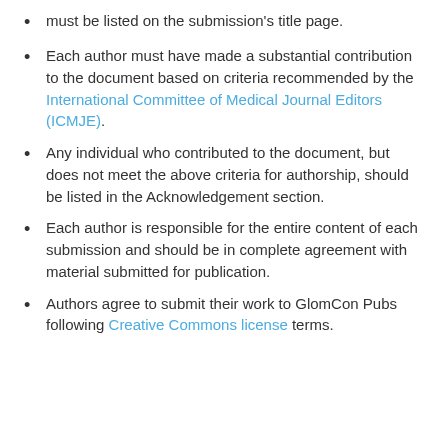must be listed on the submission's title page.
Each author must have made a substantial contribution to the document based on criteria recommended by the International Committee of Medical Journal Editors (ICMJE).
Any individual who contributed to the document, but does not meet the above criteria for authorship, should be listed in the Acknowledgement section.
Each author is responsible for the entire content of each submission and should be in complete agreement with material submitted for publication.
Authors agree to submit their work to GlomCon Pubs following Creative Commons license terms.